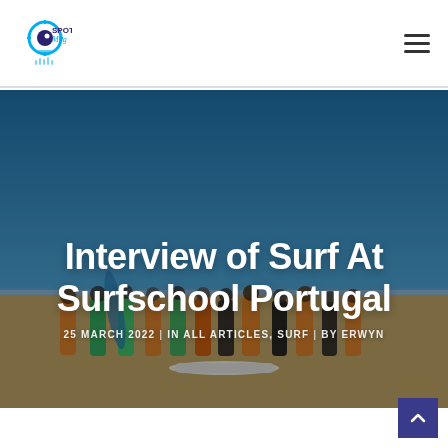Spoty Mag
[Figure (photo): Group of surfers in colorful wetsuits standing on a beach with surfboards, blue sky background]
Interview of Surf At Surfschool Portugal
25 MARCH 2022 | IN ALL ARTICLES, SURF | BY ERWYN